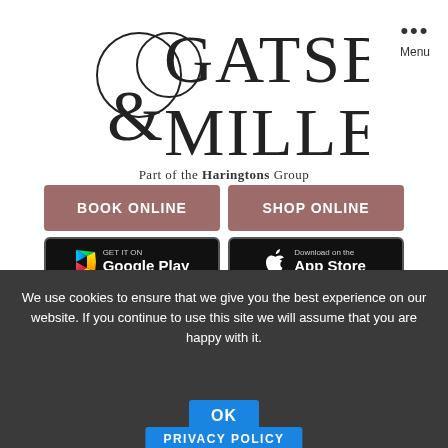[Figure (logo): Gatsby & Miller logo — Part of the Haringtons Group]
Menu
[Figure (other): BOOK ONLINE button (mauve/brown) and SHOP ONLINE button (mauve/brown)]
[Figure (other): GET IT ON Google Play button and Download on the App Store button]
We use cookies to ensure that we give you the best experience on our website. If you continue to use this site we will assume that you are happy with it.
Get SMART... Get Healthy
[Figure (other): OK button (blue) and PRIVACY POLICY button (blue)]